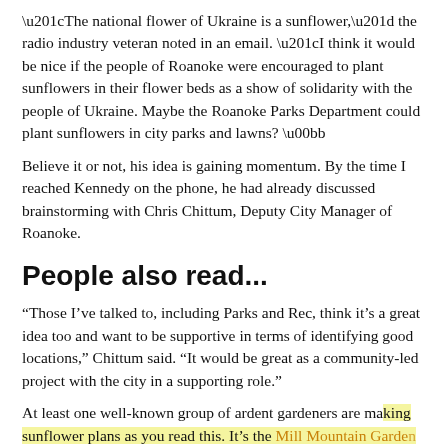“The national flower of Ukraine is a sunflower,” the radio industry veteran noted in an email. “I think it would be nice if the people of Roanoke were encouraged to plant sunflowers in their flower beds as a show of solidarity with the people of Ukraine. Maybe the Roanoke Parks Department could plant sunflowers in city parks and lawns? »
Believe it or not, his idea is gaining momentum. By the time I reached Kennedy on the phone, he had already discussed brainstorming with Chris Chittum, Deputy City Manager of Roanoke.
People also read...
“Those I’ve talked to, including Parks and Rec, think it’s a great idea too and want to be supportive in terms of identifying good locations,” Chittum said. “It would be great as a community-led project with the city in a supporting role.”
At least one well-known group of ardent gardeners are making sunflower plans as you read this. It’s the Mill Mountain Garden Club...